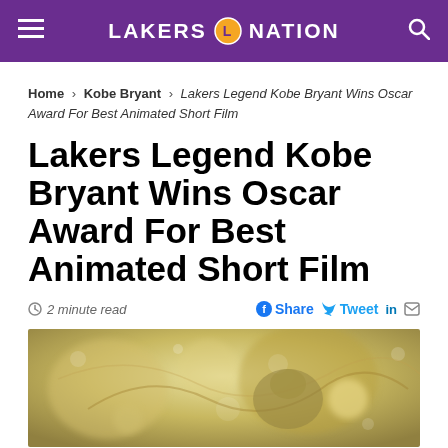LAKERS NATION
Home > Kobe Bryant > Lakers Legend Kobe Bryant Wins Oscar Award For Best Animated Short Film
Lakers Legend Kobe Bryant Wins Oscar Award For Best Animated Short Film
2 minute read  Share  Tweet  in
[Figure (photo): Golden/sepia-toned artistic image related to Kobe Bryant's animated short film Dear Basketball, showing abstract flowing shapes with bokeh light effects]